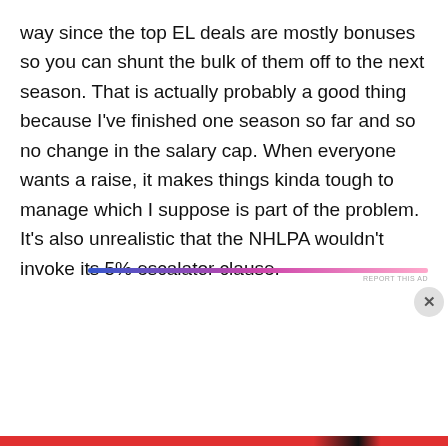way since the top EL deals are mostly bonuses so you can shunt the bulk of them off to the next season. That is actually probably a good thing because I've finished one season so far and so no change in the salary cap. When everyone wants a raise, it makes things kinda tough to manage which I suppose is part of the problem. It's also unrealistic that the NHLPA wouldn't invoke its 5% escalator clause.
[Figure (other): Advertisement bar with blue-to-pink gradient and 'REPORT THIS AD' label]
Privacy & Cookies: This site uses cookies. By continuing to use this website, you agree to their use.
To find out more, including how to control cookies, see here: Cookie Policy
Close and accept